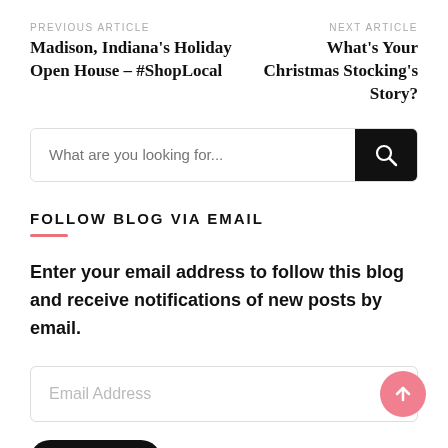PREVIOUS ARTICLE
Madison, Indiana's Holiday Open House – #ShopLocal
NEXT ARTICLE
What's Your Christmas Stocking's Story?
[Figure (other): Search bar with text placeholder 'What are you looking for...' and a black search button with magnifying glass icon]
FOLLOW BLOG VIA EMAIL
Enter your email address to follow this blog and receive notifications of new posts by email.
[Figure (other): Email address input field with pink circular upload/submit arrow button on the right side]